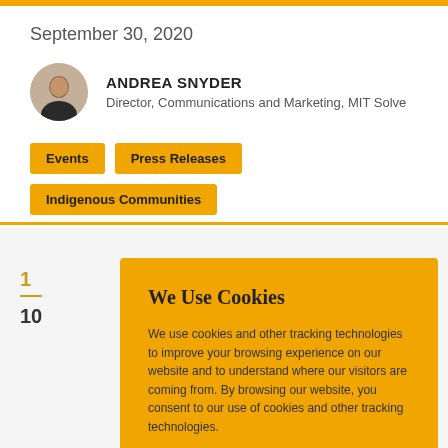September 30, 2020
[Figure (photo): Circular headshot of Andrea Snyder]
ANDREA SNYDER
Director, Communications and Marketing, MIT Solve
Events
Press Releases
Indigenous Communities
1
10
We Use Cookies
We use cookies and other tracking technologies to improve your browsing experience on our website and to understand where our visitors are coming from. By browsing our website, you consent to our use of cookies and other tracking technologies.
ACCEPT
REJECT